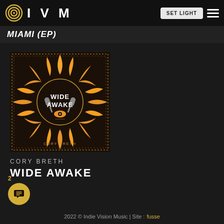IVM
MIAMI (EP)
[Figure (illustration): Album cover for 'Wide Awake' by Cory Breth — dark background with ornate dotted border, featuring a large stylized sun with orange and yellow flames, a circular center with crossed microphones and an eye, text 'WIDE AWAKE' and 'CORY BRETH']
CORY BRETH
WIDE AWAKE
2022 © Indie Vision Music | Site : fusse